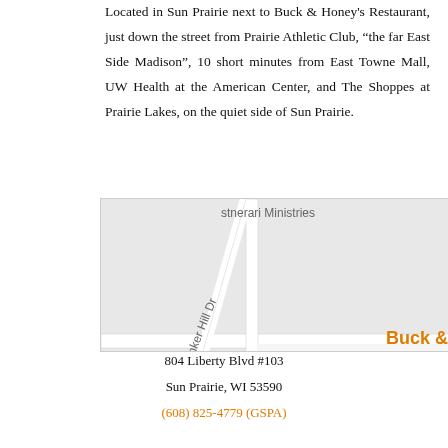Located in Sun Prairie next to Buck & Honey's Restaurant, just down the street from Prairie Athletic Club, “the far East Side Madison”, 10 short minutes from East Towne Mall, UW Health at the American Center, and The Shoppes at Prairie Lakes, on the quiet side of Sun Prairie.
[Figure (map): Google Maps screenshot showing the area around Buck & Honey's - Sun Prairie and Bentel Design Group, with street labels including Bunker Hill Dr, Homestead Dr, Chandler Ln, Sawyer Way, Ruxton Ridge Dr, Grandview Dr, Circle Dr, and location pins for Crossings Memory Care, Buck & Honey's - Sun Prairie (orange pin), and Bentel Design Group.]
804 Liberty Blvd #103
Sun Prairie, WI 53590